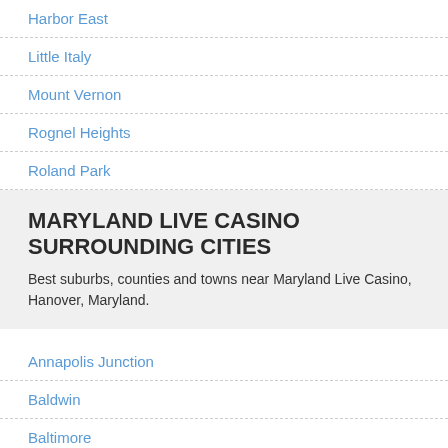Harbor East
Little Italy
Mount Vernon
Rognel Heights
Roland Park
MARYLAND LIVE CASINO SURROUNDING CITIES
Best suburbs, counties and towns near Maryland Live Casino, Hanover, Maryland.
Annapolis Junction
Baldwin
Baltimore